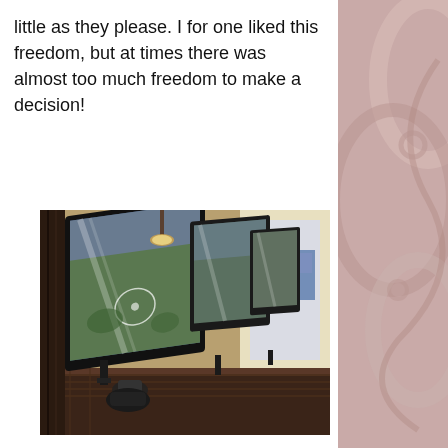little as they please. I for one liked this freedom, but at times there was almost too much freedom to make a decision!
[Figure (photo): Interior photo showing a row of large computer monitors or display screens on a dark counter/desk, angled perspective showing multiple screens in a line, with a bright window and outdoor scene including a bus visible in the background.]